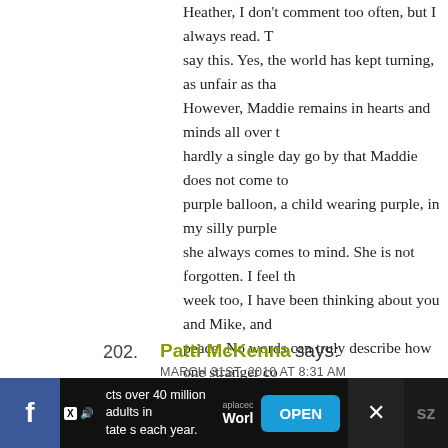Heather, I don't comment too often, but I always read. T... say this. Yes, the world has kept turning, as unfair as tha... However, Maddie remains in hearts and minds all over ... hardly a single day go by that Maddie does not come to... purple balloon, a child wearing purple, in my silly purple... she always comes to mind. She is not forgotten. I feel th... week too, I have been thinking about you and Mike, an... peace. No words can truly describe how one stranger co... your pain, and wish it was all a mistake...but that is how... touched me in a way I can not describe, and I am here th... and grieving for all that is lost too. I just thought you w... that the world will keep spinning, and so will the though... of your sweet Maddie.
.-= coloradolady's last blog ..Quick, Easy, Delish: Enchila...
> Reply
202. Patti McKenna says: MARCH 31ST, 2010 AT 8:31 AM
[Figure (screenshot): Advertisement bar at bottom with Facebook icon, text about 40 million adults, aplacebo World text, OPEN button, and close X button]